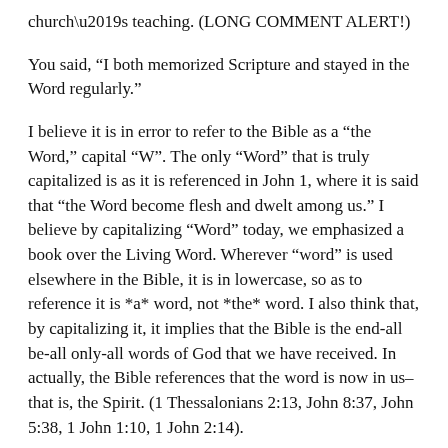church's teaching. (LONG COMMENT ALERT!)
You said, “I both memorized Scripture and stayed in the Word regularly.”
I believe it is in error to refer to the Bible as a “the Word,” capital “W”. The only “Word” that is truly capitalized is as it is referenced in John 1, where it is said that “the Word become flesh and dwelt among us.” I believe by capitalizing “Word” today, we emphasized a book over the Living Word. Wherever “word” is used elsewhere in the Bible, it is in lowercase, so as to reference it is *a* word, not *the* word. I also think that, by capitalizing it, it implies that the Bible is the end-all be-all only-all words of God that we have received. In actually, the Bible references that the word is now in us–that is, the Spirit. (1 Thessalonians 2:13, John 8:37, John 5:38, 1 John 1:10, 1 John 2:14).